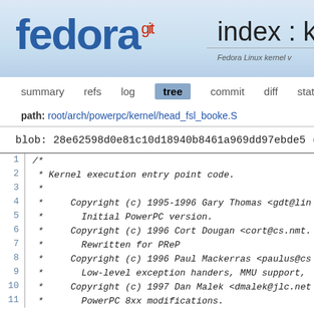[Figure (logo): Fedora git logo with 'fedora' in blue and 'git' superscript in red]
index : ke
Fedora Linux kernel v
summary  refs  log  tree  commit  diff  stats
path: root/arch/powerpc/kernel/head_fsl_booke.S
blob: 28e62598d0e81c10d18940b8461a969dd97ebde5 (plain)
| line | code |
| --- | --- |
| 1 | /* |
| 2 |  * Kernel execution entry point code. |
| 3 |  * |
| 4 |  *     Copyright (c) 1995-1996 Gary Thomas <gdt@lin |
| 5 |  *       Initial PowerPC version. |
| 6 |  *     Copyright (c) 1996 Cort Dougan <cort@cs.nmt. |
| 7 |  *       Rewritten for PReP |
| 8 |  *     Copyright (c) 1996 Paul Mackerras <paulus@cs |
| 9 |  *       Low-level exception handers, MMU support, |
| 10 |  *     Copyright (c) 1997 Dan Malek <dmalek@jlc.net |
| 11 |  *       PowerPC 8xx modifications. |